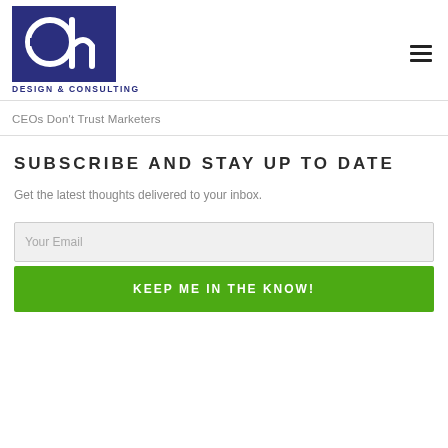[Figure (logo): eh Design & Consulting logo — blue rectangle with stylized 'eh' letters in white, with 'DESIGN & CONSULTING' text below in dark navy]
CEOs Don't Trust Marketers
SUBSCRIBE AND STAY UP TO DATE
Get the latest thoughts delivered to your inbox.
Your Email
KEEP ME IN THE KNOW!